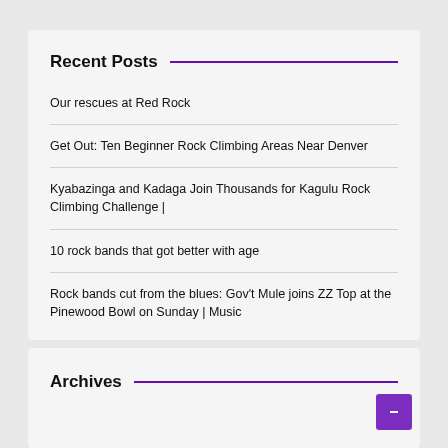Recent Posts
Our rescues at Red Rock
Get Out: Ten Beginner Rock Climbing Areas Near Denver
Kyabazinga and Kadaga Join Thousands for Kagulu Rock Climbing Challenge |
10 rock bands that got better with age
Rock bands cut from the blues: Gov't Mule joins ZZ Top at the Pinewood Bowl on Sunday | Music
Archives